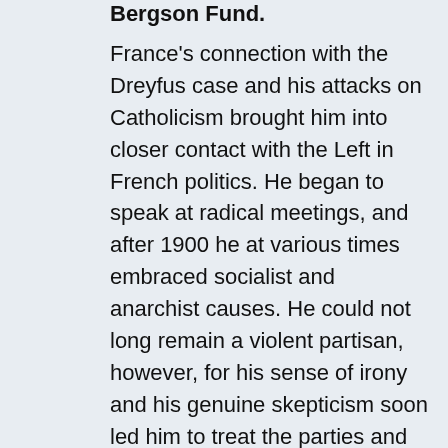Bergson Fund.
France's connection with the Dreyfus case and his attacks on Catholicism brought him into closer contact with the Left in French politics. He began to speak at radical meetings, and after 1900 he at various times embraced socialist and anarchist causes. He could not long remain a violent partisan, however, for his sense of irony and his genuine skepticism soon led him to treat the parties and institutions of the Left with the same ironic attitude he had once applied to the church and to scholarship. In fact, his best-known work, Penguin Island, poked fun at all of French society: the socialists, the Dreyfusards, and those who would establish a perfect human society, as well as at the families of the church and the right.